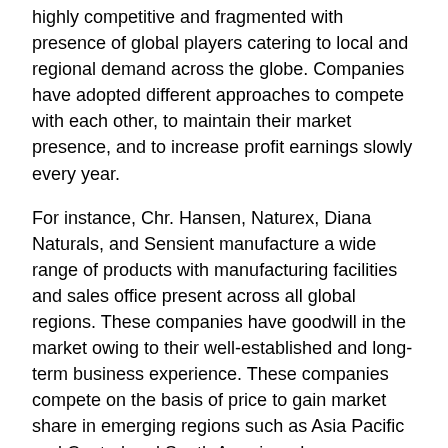highly competitive and fragmented with presence of global players catering to local and regional demand across the globe. Companies have adopted different approaches to compete with each other, to maintain their market presence, and to increase profit earnings slowly every year.
For instance, Chr. Hansen, Naturex, Diana Naturals, and Sensient manufacture a wide range of products with manufacturing facilities and sales office present across all global regions. These companies have goodwill in the market owing to their well-established and long-term business experience. These companies compete on the basis of price to gain market share in emerging regions such as Asia Pacific and Central and South America where average spending capacity is relatively low.
Access full report or request for free sample at: https://www.hexaresearch.com/research-report/natural-food-colors-market-analysis
Hexa Research has segmented the Natural Food Colors